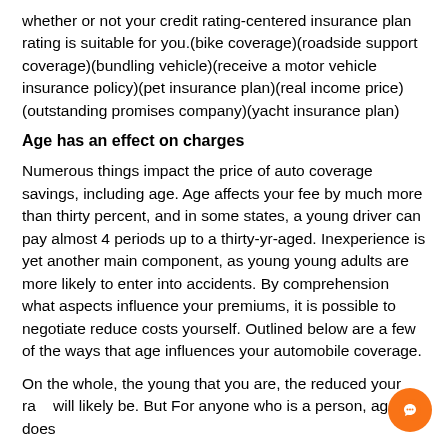whether or not your credit rating-centered insurance plan rating is suitable for you.(bike coverage)(roadside support coverage)(bundling vehicle)(receive a motor vehicle insurance policy)(pet insurance plan)(real income price)(outstanding promises company)(yacht insurance plan)
Age has an effect on charges
Numerous things impact the price of auto coverage savings, including age. Age affects your fee by much more than thirty percent, and in some states, a young driver can pay almost 4 periods up to a thirty-yr-aged. Inexperience is yet another main component, as young young adults are more likely to enter into accidents. By comprehension what aspects influence your premiums, it is possible to negotiate reduce costs yourself. Outlined below are a few of the ways that age influences your automobile coverage.
On the whole, the young that you are, the reduced your rate will likely be. But For anyone who is a person, age does
[Figure (other): Orange circular chat bubble icon in the bottom-right corner of the page]